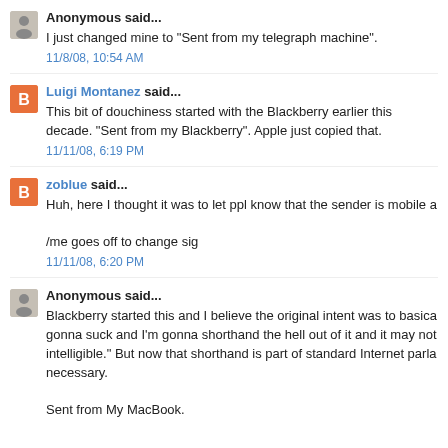Anonymous said...
I just changed mine to "Sent from my telegraph machine".
11/8/08, 10:54 AM
Luigi Montanez said...
This bit of douchiness started with the Blackberry earlier this decade. "Sent from my Blackberry". Apple just copied that.
11/11/08, 6:19 PM
zoblue said...
Huh, here I thought it was to let ppl know that the sender is mobile a

/me goes off to change sig
11/11/08, 6:20 PM
Anonymous said...
Blackberry started this and I believe the original intent was to basica gonna suck and I'm gonna shorthand the hell out of it and it may not intelligible." But now that shorthand is part of standard Internet parla necessary.
Sent from My MacBook.